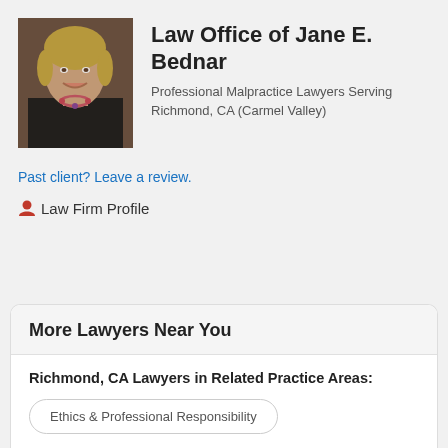[Figure (photo): Professional headshot of a woman with short blonde hair, wearing a dark blazer and colorful necklace, smiling.]
Law Office of Jane E. Bednar
Professional Malpractice Lawyers Serving Richmond, CA (Carmel Valley)
Past client? Leave a review.
Law Firm Profile
More Lawyers Near You
Richmond, CA Lawyers in Related Practice Areas:
Ethics & Professional Responsibility